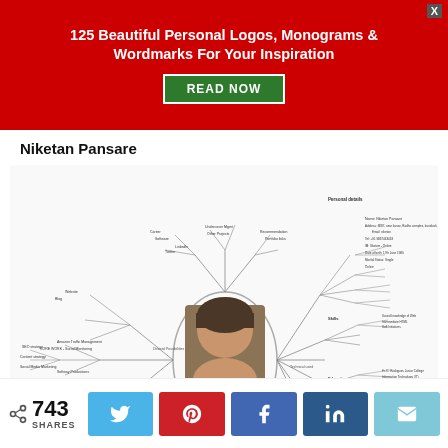125 Beautiful Personal Logos, Monograms & Wordmarks For Your Inspiration
READ NOW
Niketan Pansare
[Figure (infographic): A detailed mind map centered around a person's photo (Niketan Pansare), with branches covering personal details, skills, education, experience, and other information radiating outward with small text labels.]
743 SHARES